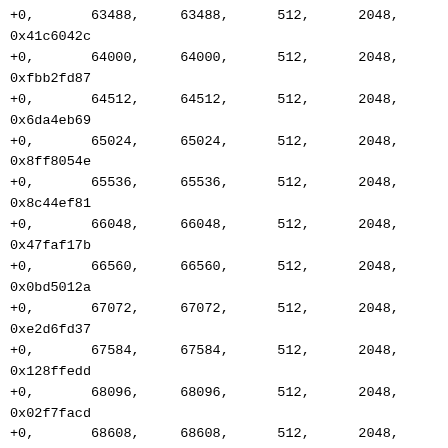+0,       63488,     63488,      512,      2048,
0x41c6042c
+0,       64000,     64000,      512,      2048,
0xfbb2fd87
+0,       64512,     64512,      512,      2048,
0x6da4eb69
+0,       65024,     65024,      512,      2048,
0x8ff8054e
+0,       65536,     65536,      512,      2048,
0x8c44ef81
+0,       66048,     66048,      512,      2048,
0x47faf17b
+0,       66560,     66560,      512,      2048,
0x0bd5012a
+0,       67072,     67072,      512,      2048,
0xe2d6fd37
+0,       67584,     67584,      512,      2048,
0x128ffedd
+0,       68096,     68096,      512,      2048,
0x02f7facd
+0,       68608,     68608,      512,      2048,
0x3f43f77d
+0,       69120,     69120,      512,      2048,
0x7d65fe19
+0,       69632,     69632,      512,      2048,
0x66c705ba
+0,       70144,     70144,      512,      2048,
0x182efbb7
+0,       70656,     70656,      512,      2048,
0xf718e481